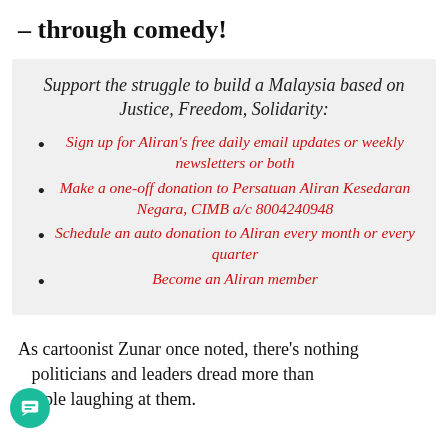– through comedy!
Support the struggle to build a Malaysia based on Justice, Freedom, Solidarity:
Sign up for Aliran's free daily email updates or weekly newsletters or both
Make a one-off donation to Persatuan Aliran Kesedaran Negara, CIMB a/c 8004240948
Schedule an auto donation to Aliran every month or every quarter
Become an Aliran member
As cartoonist Zunar once noted, there's nothing politicians and leaders dread more than people laughing at them.